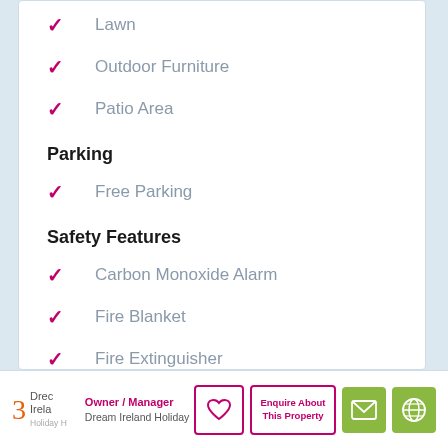Lawn
Outdoor Furniture
Patio Area
Parking
Free Parking
Safety Features
Carbon Monoxide Alarm
Fire Blanket
Fire Extinguisher
Smoke Alarm
Dream Ireland Holiday | Owner / Manager | Dream Ireland Holiday | Enquire About This Property